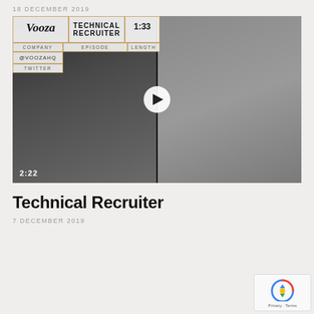18 DECEMBER 2019
[Figure (screenshot): Vooza video thumbnail showing two men on phones. Overlay panel shows: Vooza logo, TECHNICAL RECRUITER title, 1:33 duration. Labels: COMPANY, EPISODE, LENGTH. Value: @VOOZAHQ TWITTER. Play button in center. Timestamp 2:22 bottom left.]
Technical Recruiter
7 DECEMBER 2019
[Figure (logo): reCAPTCHA badge with Privacy · Terms text]